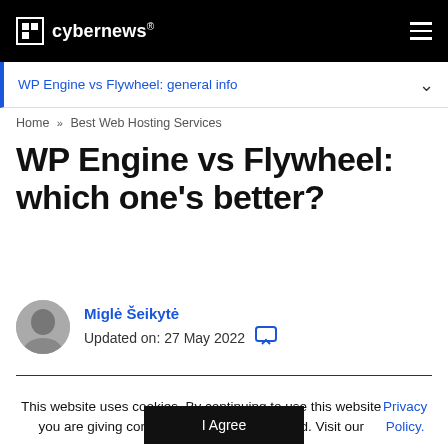cybernews®
WP Engine vs Flywheel: general info
Home » Best Web Hosting Services
WP Engine vs Flywheel: which one's better?
Miglė Šeikytė
Updated on: 27 May 2022
This website uses cookies. By continuing to use this website you are giving consent to cookies being used. Visit our Privacy Policy.
I Agree